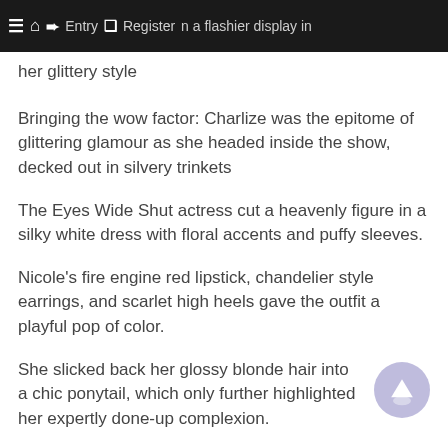≡ ⌂ ➜ Entry ❏ Register n a flashier display in her glittery style
Bringing the wow factor: Charlize was the epitome of glittering glamour as she headed inside the show, decked out in silvery trinkets
The Eyes Wide Shut actress cut a heavenly figure in a silky white dress with floral accents and puffy sleeves.
Nicole's fire engine red lipstick, chandelier style earrings, and scarlet high heels gave the outfit a playful pop of color.
She slicked back her glossy blonde hair into a chic ponytail, which only further highlighted her expertly done-up complexion.